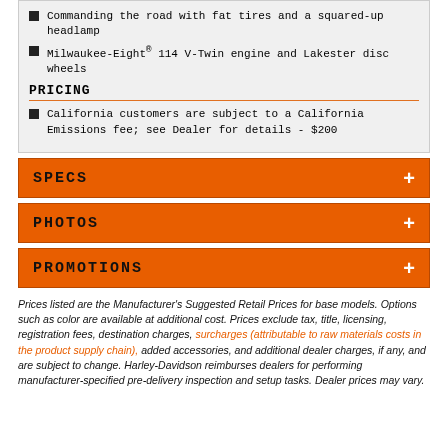Commanding the road with fat tires and a squared-up headlamp
Milwaukee-Eight® 114 V-Twin engine and Lakester disc wheels
PRICING
California customers are subject to a California Emissions fee; see Dealer for details - $200
SPECS
PHOTOS
PROMOTIONS
Prices listed are the Manufacturer's Suggested Retail Prices for base models. Options such as color are available at additional cost. Prices exclude tax, title, licensing, registration fees, destination charges, surcharges (attributable to raw materials costs in the product supply chain), added accessories, and additional dealer charges, if any, and are subject to change. Harley-Davidson reimburses dealers for performing manufacturer-specified pre-delivery inspection and setup tasks. Dealer prices may vary.